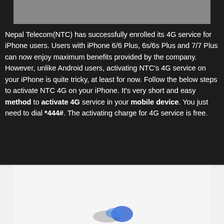[Figure (photo): Top image bar - partial screenshot or image cropped at top of page]
Nepal Telecom(NTC) has successfully enrolled its 4G service for iPhone users. Users with iPhone 6/6 Plus, 6s/6s Plus and 7/7 Plus can now enjoy maximum benefits provided by the company. However, unlike Android users, activating NTC's 4G service on your iPhone is quite tricky, at least for now. Follow the below steps to activate NTC 4G on your iPhone. It's very short and easy method to activate 4G service in your mobile device. You just need to dial *444#. The activating charge for 4G service is free.
[Figure (photo): Bottom image area showing partial logo or graphic with blue and gray elements on white background]